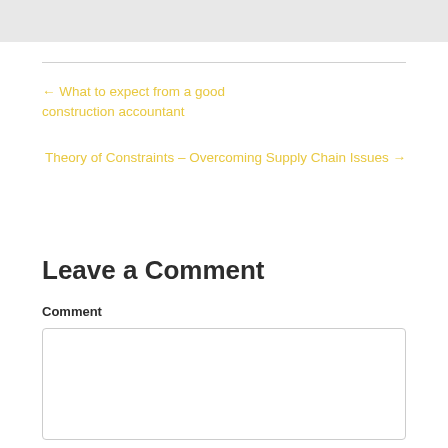← What to expect from a good construction accountant
Theory of Constraints – Overcoming Supply Chain Issues →
Leave a Comment
Comment